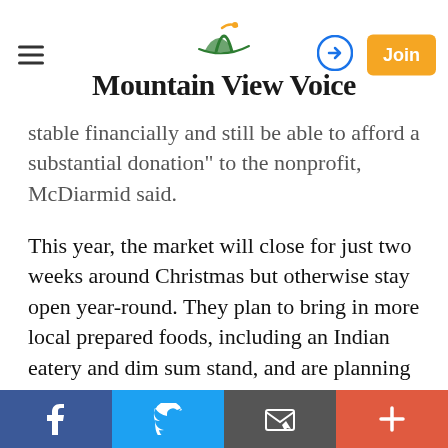Mountain View Voice
stable financially and still be able to afford a substantial donation" to the nonprofit, McDiarmid said.
This year, the market will close for just two weeks around Christmas but otherwise stay open year-round. They plan to bring in more local prepared foods, including an Indian eatery and dim sum stand, and are planning to offer cooking demos and other events.
The market currently has 35 vendors, including fresh produce, meats, seafood, olive oil, coffee, jams, baked goods and prepared foods.
"With all the competition going on, whatever we can do